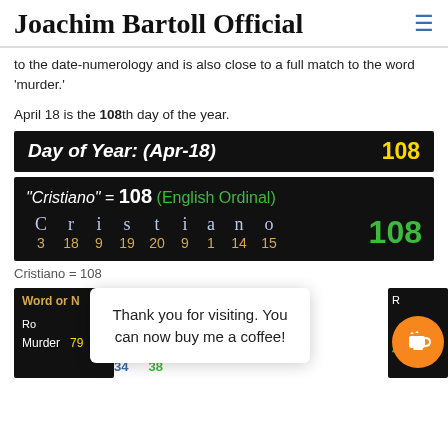Joachim Bartoll Official
to the date-numerology and is also close to a full match to the word 'murder.'
April 18 is the 108th day of the year.
[Figure (infographic): Day of Year: (Apr-18) = 108 displayed in a black bar with yellow number]
[Figure (infographic): Cristiano = 108 (English Ordinal) gematria breakdown with letter values C=3 r=18 i=9 s=19 t=20 i=9 a=1 n=14 o=15 totaling 108]
Cristiano = 108
[Figure (infographic): Partial view of a gematria table showing Murder row with values 79, 34, 38, 474, overlaid with a popup saying Thank you for visiting. You can now buy me a coffee! and a coffee cup button]